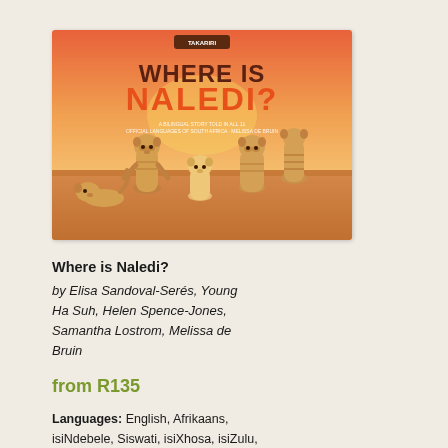[Figure (illustration): Book cover of 'Where is Naledi?' showing illustrated meerkats on an orange/sunset background desert scene. Title text 'WHERE IS NALEDI?' in bold brown and orange letters. Small brown publisher logo at top center. Author names in small white text below title.]
Where is Naledi?
by Elisa Sandoval-Serés, Young Ha Suh, Helen Spence-Jones, Samantha Lostrom, Melissa de Bruin
from R135
Languages: English, Afrikaans, isiNdebele, Siswati, isiXhosa, isiZulu, Sepedi, Sesotho, Setswana, Tshivenda, Xitsonga